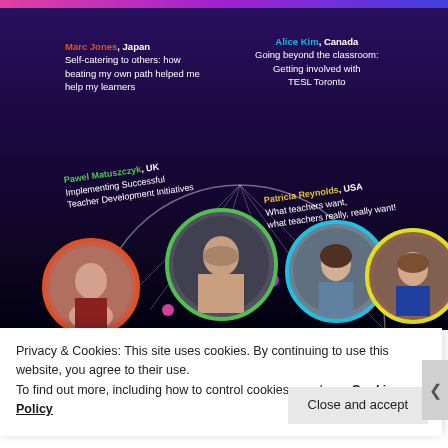[Figure (infographic): Dark purple/black promotional banner showing speakers from around the world with circular profile photos and colored ring borders. Four speakers listed: Marc Jones (Japan), Alice Kim (Canada), Pawel Matuszczyk (UK), Patricia Reynolds (USA), each with talk titles. Decorative colored dots and a ferris wheel arc outline at bottom.]
Privacy & Cookies: This site uses cookies. By continuing to use this website, you agree to their use.
To find out more, including how to control cookies, see here: Cookie Policy
Close and accept